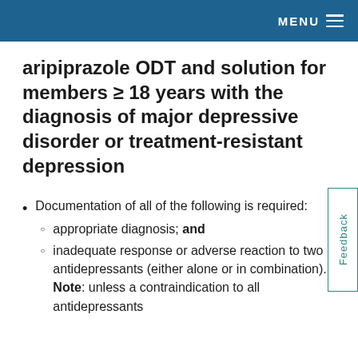MENU
aripiprazole ODT and solution for members ≥ 18 years with the diagnosis of major depressive disorder or treatment-resistant depression
Documentation of all of the following is required:
appropriate diagnosis; and
inadequate response or adverse reaction to two antidepressants (either alone or in combination). Note: unless a contraindication to all antidepressants